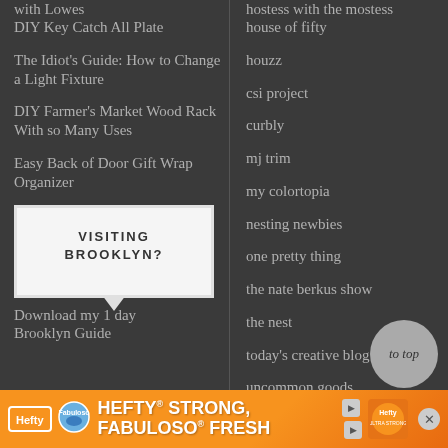with Lowes
DIY Key Catch All Plate
The Idiot's Guide: How to Change a Light Fixture
DIY Farmer's Market Wood Rack With so Many Uses
Easy Back of Door Gift Wrap Organizer
[Figure (other): Box with text VISITING BROOKLYN? with speech bubble tail]
Download my 1 day Brooklyn Guide
hostess with the mostess
house of fifty
houzz
csi project
curbly
mj trim
my colortopia
nesting newbies
one pretty thing
the nate berkus show
the nest
today's creative blog
uncommon goods
woman's day
[Figure (other): to top circle button]
[Figure (other): Hefty Strong, Fabuloso Fresh advertisement banner]